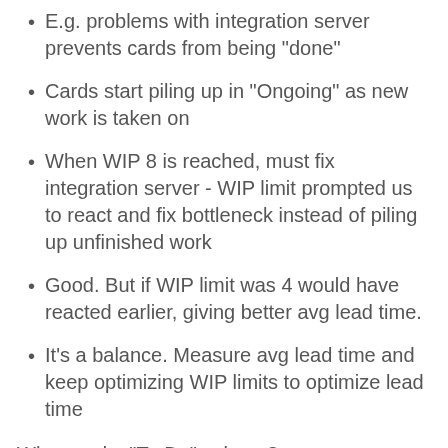E.g. problems with integration server prevents cards from being "done"
Cards start piling up in "Ongoing" as new work is taken on
When WIP 8 is reached, must fix integration server - WIP limit prompted us to react and fix bottleneck instead of piling up unfinished work
Good. But if WIP limit was 4 would have reacted earlier, giving better avg lead time.
It's a balance. Measure avg lead time and keep optimizing WIP limits to optimize lead time
Why need a "To-Do" column?
Gives team a small buffer to pull work from in absence of customer